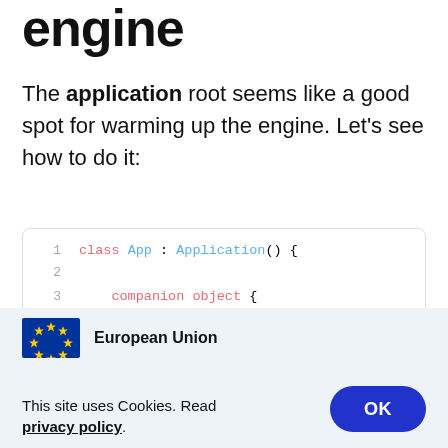engine
The application root seems like a good spot for warming up the engine. Let's see how to do it:
[Figure (screenshot): Code block showing Kotlin class App extending Application with companion object containing const val FLUTTER_ENGINE_ID]
[Figure (logo): European Union flag logo with text 'European Union']
This site uses Cookies. Read privacy policy.